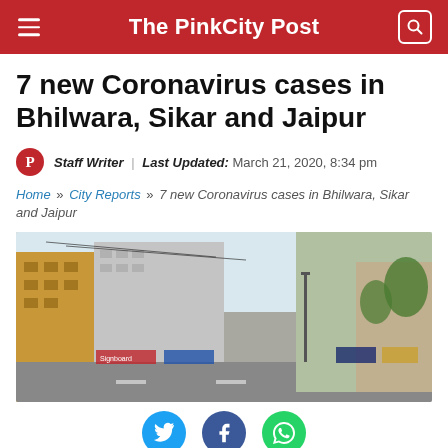The PinkCity Post
7 new Coronavirus cases in Bhilwara, Sikar and Jaipur
Staff Writer | Last Updated: March 21, 2020, 8:34 pm
Home » City Reports » 7 new Coronavirus cases in Bhilwara, Sikar and Jaipur
[Figure (photo): Street view of a city road with buildings on both sides, empty street, outdoor signage visible, hazy sky.]